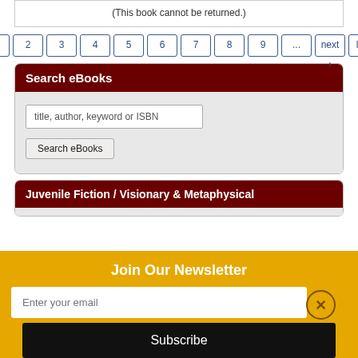(This book cannot be returned.)
1 2 3 4 5 6 7 8 9 ... next › last »
Search eBooks
title, author, keyword or ISBN
Search eBooks
Juvenile Fiction / Visionary & Metaphysical
Join Our Newsletter
Enter your email
Subscribe